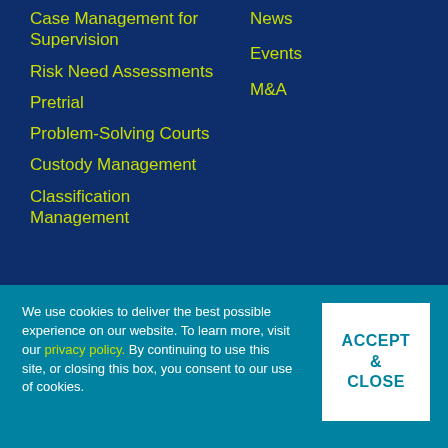Case Management for Supervision
Risk Need Assessments
Pretrial
Problem-Solving Courts
Custody Management
Classification Management
News
Events
M&A
We use cookies to deliver the best possible experience on our website. To learn more, visit our privacy policy. By continuing to use this site, or closing this box, you consent to our use of cookies.